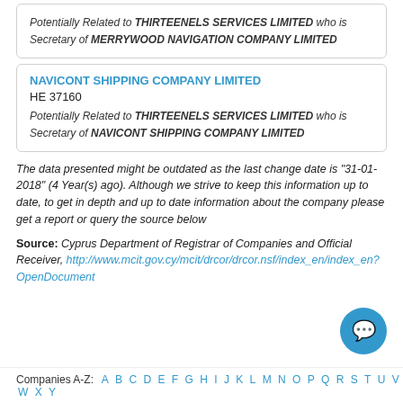Potentially Related to THIRTEENELS SERVICES LIMITED who is Secretary of MERRYWOOD NAVIGATION COMPANY LIMITED
NAVICONT SHIPPING COMPANY LIMITED
HE 37160
Potentially Related to THIRTEENELS SERVICES LIMITED who is Secretary of NAVICONT SHIPPING COMPANY LIMITED
The data presented might be outdated as the last change date is "31-01-2018" (4 Year(s) ago). Although we strive to keep this information up to date, to get in depth and up to date information about the company please get a report or query the source below
Source: Cyprus Department of Registrar of Companies and Official Receiver, http://www.mcit.gov.cy/mcit/drcor/drcor.nsf/index_en/index_en?OpenDocument
Companies A-Z: A B C D E F G H I J K L M N O P Q R S T U V W X Y